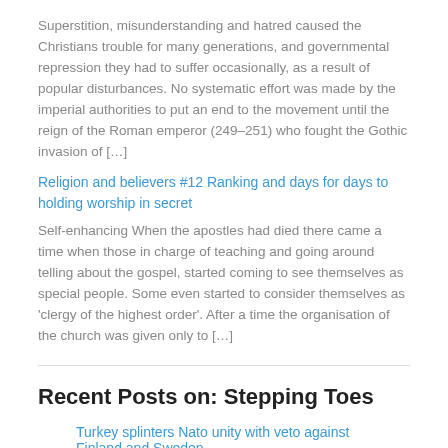Superstition, misunderstanding and hatred caused the Christians trouble for many generations, and governmental repression they had to suffer occasionally, as a result of popular disturbances. No systematic effort was made by the imperial authorities to put an end to the movement until the reign of the Roman emperor (249–251) who fought the Gothic invasion of […]
Religion and believers #12 Ranking and days for days to holding worship in secret
Self-enhancing When the apostles had died there came a time when those in charge of teaching and going around telling about the gospel, started coming to see themselves as special people. Some even started to consider themselves as 'clergy of the highest order'. After a time the organisation of the church was given only to […]
Recent Posts on: Stepping Toes
Turkey splinters Nato unity with veto against Finland and Sweden